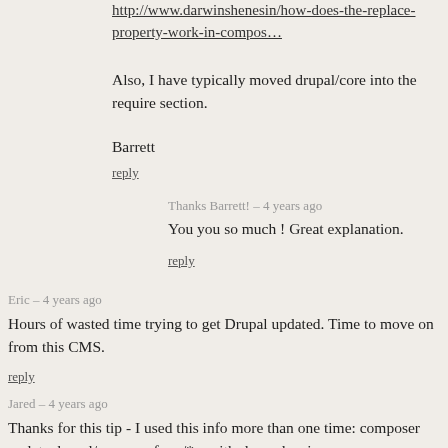http://www.darwinshenesin/how-does-the-replace-property-work-in-compos…
Also, I have typically moved drupal/core into the require section.
Barrett
reply
Thanks Barrett! – 4 years ago
You you so much ! Great explanation.
reply
Eric – 4 years ago
Hours of wasted time trying to get Drupal updated. Time to move on from this CMS.
reply
Jared – 4 years ago
Thanks for this tip - I used this info more than one time: composer update drupal/core symfony/* --with-dependencies